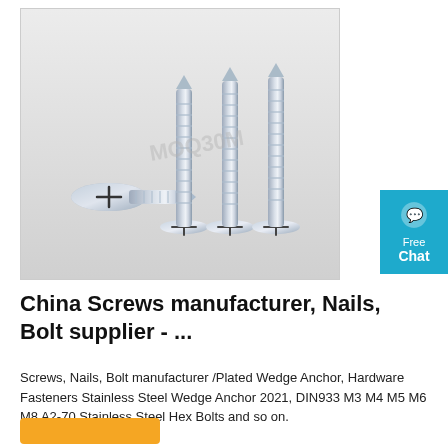[Figure (photo): Photo of four stainless steel countersunk Phillips head self-tapping screws arranged on a light grey background, with a watermark 'MOQ30M' visible.]
[Figure (other): Blue 'Free Chat' button widget in the top-right corner with a speech bubble icon.]
China Screws manufacturer, Nails, Bolt supplier - ...
Screws, Nails, Bolt manufacturer /Plated Wedge Anchor, Hardware Fasteners Stainless Steel Wedge Anchor 2021, DIN933 M3 M4 M5 M6 M8 A2-70 Stainless Steel Hex Bolts and so on.